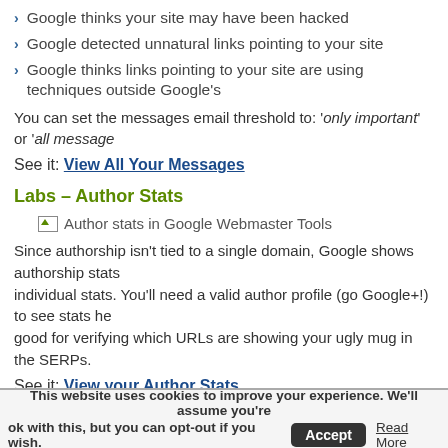Google thinks your site may have been hacked
Google detected unnatural links pointing to your site
Google thinks links pointing to your site are using techniques outside Google's
You can set the messages email threshold to: 'only important' or 'all message
See it: View All Your Messages
Labs – Author Stats
[Figure (screenshot): Author stats in Google Webmaster Tools - image placeholder]
Since authorship isn't tied to a single domain, Google shows authorship stats individual stats. You'll need a valid author profile (go Google+!) to see stats he good for verifying which URLs are showing your ugly mug in the SERPs.
See it: View your Author Stats
This website uses cookies to improve your experience. We'll assume you're ok with this, but you can opt-out if you wish.  Accept  Read More